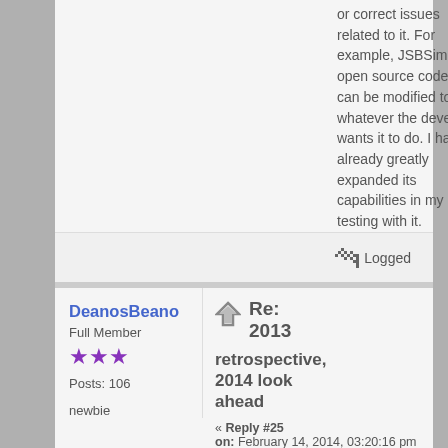or correct issues related to it.  For example, JSBSim is an open source code and can be modified to do whatever the developer wants it to do.  I have already greatly expanded its capabilities in my own testing with it.
Logged
DeanosBeano
Full Member
Posts: 106
newbie
Re: 2013 retrospective, 2014 look ahead
« Reply #25
on: February 14, 2014, 03:20:16 pm »
Quote from: SilentEagle
on February 14, 2014